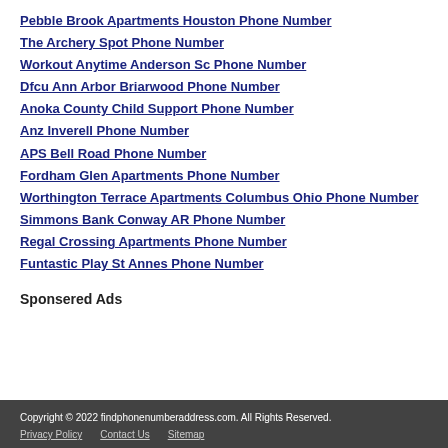Pebble Brook Apartments Houston Phone Number
The Archery Spot Phone Number
Workout Anytime Anderson Sc Phone Number
Dfcu Ann Arbor Briarwood Phone Number
Anoka County Child Support Phone Number
Anz Inverell Phone Number
APS Bell Road Phone Number
Fordham Glen Apartments Phone Number
Worthington Terrace Apartments Columbus Ohio Phone Number
Simmons Bank Conway AR Phone Number
Regal Crossing Apartments Phone Number
Funtastic Play St Annes Phone Number
Sponsered Ads
Copyright © 2022 findphonenumberaddress.com. All Rights Reserved. Privacy Policy Contact Us Sitemap